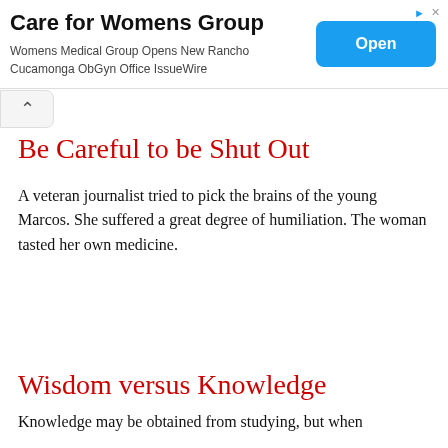[Figure (other): Advertisement banner for Care for Womens Group with an Open button]
Be Careful to be Shut Out
A veteran journalist tried to pick the brains of the young Marcos. She suffered a great degree of humiliation. The woman tasted her own medicine.
Wisdom versus Knowledge
Knowledge may be obtained from studying, but when